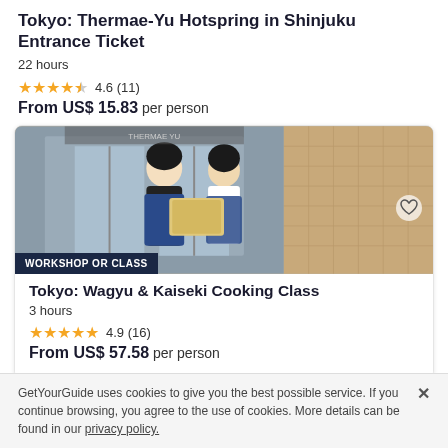Tokyo: Thermae-Yu Hotspring in Shinjuku Entrance Ticket
22 hours
4.6 (11)
From US$ 15.83 per person
[Figure (photo): Two women in blue aprons holding a certificate in front of a building entrance. Badge reads WORKSHOP OR CLASS.]
Tokyo: Wagyu & Kaiseki Cooking Class
3 hours
4.9 (16)
From US$ 57.58 per person
GetYourGuide uses cookies to give you the best possible service. If you continue browsing, you agree to the use of cookies. More details can be found in our privacy policy.